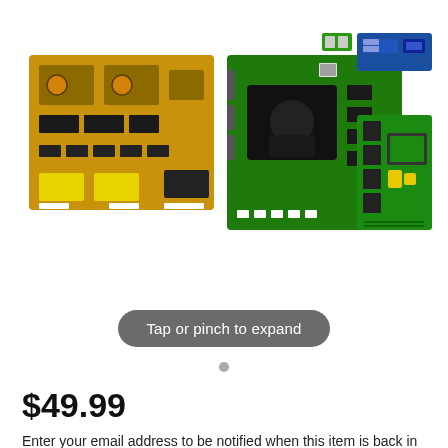[Figure (photo): Multiple circuit boards and electronic components for a TV repair kit: a large yellow power board (left), a main board with black components (center), a small green module (upper center), a blue T-con board (upper right), and a green inverter/LED driver board (lower right).]
Tap or pinch to expand
$49.99
Enter your email address to be notified when this item is back in